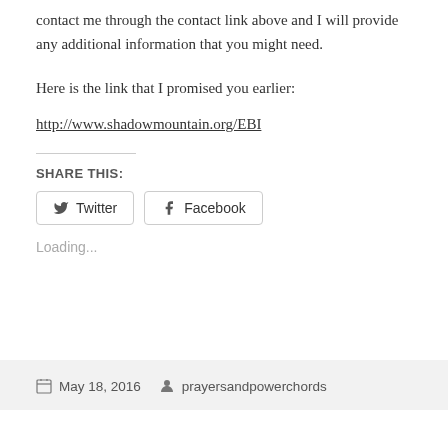contact me through the contact link above and I will provide any additional information that you might need.
Here is the link that I promised you earlier:
http://www.shadowmountain.org/EBI
SHARE THIS:
Loading...
May 18, 2016   prayersandpowerchords